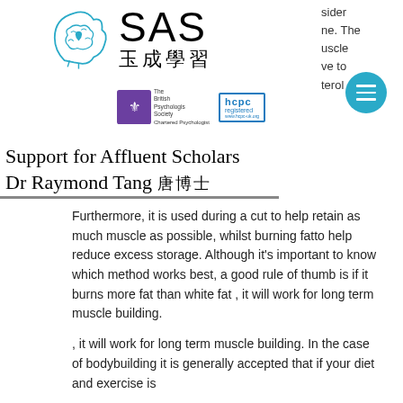[Figure (logo): SAS 玉成學習 logo with brain icon, British Psychological Society chartered psychologist badge, HCPC registered badge, and a teal hamburger menu circle icon. Partial text visible on right edge: 'sider', 'ne. The', 'uscle', 've to', 'terol'.]
Support for Affluent Scholars
Dr Raymond Tang 唐博士
Furthermore, it is used during a cut to help retain as much muscle as possible, whilst burning fatto help reduce excess storage. Although it's important to know which method works best, a good rule of thumb is if it burns more fat than white fat , it will work for long term muscle building.
, it will work for long term muscle building. In the case of bodybuilding it is generally accepted that if your diet and exercise is